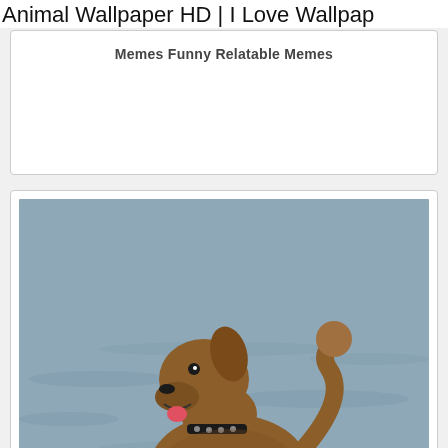Animal Wallpaper HD | I Love Wallpap…
Memes Funny Relatable Memes
[Figure (photo): A wet golden-brown dog with a spiked collar standing on a rocky surface near water, mouth open with tongue out, tail curled upward.]
Brianbaccusbrands Animal Memes Funny Animals Funny Animal Memes
[Figure (photo): Two cats side by side — a cream/white cat on the left and another lighter cat on the right, partially visible.]